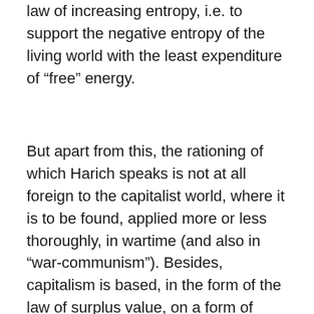law of increasing entropy, i.e. to support the negative entropy of the living world with the least expenditure of “free” energy.
But apart from this, the rationing of which Harich speaks is not at all foreign to the capitalist world, where it is to be found, applied more or less thoroughly, in wartime (and also in “war-communism”). Besides, capitalism is based, in the form of the law of surplus value, on a form of “rationing” of proletarian living conditions, something that also characterizes the relations of production in the putatively “socialist” countries, although there surplus value can appear directly as surplus product. In fact, the existence of capital, as Harich himself explains, hangs on the continuing “rationing” of the producers, in order to satisfy the growing surplus-value requirements of